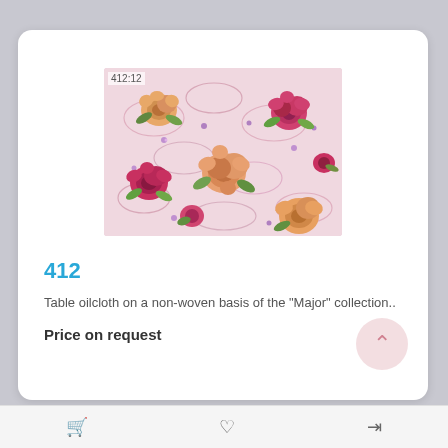[Figure (photo): Floral fabric pattern showing roses and flowers on a pink/cream background, labeled 412:12]
412
Table oilcloth on a non-woven basis of the "Major" collection..
Price on request